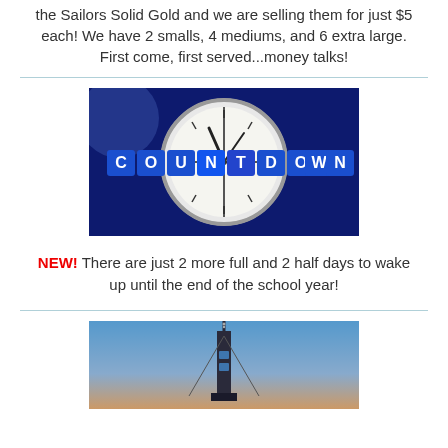the Sailors Solid Gold and we are selling them for just $5 each! We have 2 smalls, 4 mediums, and 6 extra large. First come, first served...money talks!
[Figure (photo): Countdown TV show logo with clock in background, blue tiles spelling COUNTDOWN]
NEW! There are just 2 more full and 2 half days to wake up until the end of the school year!
[Figure (photo): Tall tower or antenna against a blue gradient sky]